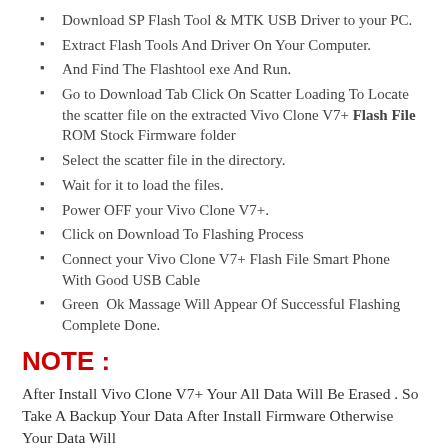Download SP Flash Tool & MTK USB Driver to your PC.
Extract Flash Tools And Driver On Your Computer.
And Find The Flashtool exe And Run.
Go to Download Tab Click On Scatter Loading To Locate the scatter file on the extracted Vivo Clone V7+ Flash File ROM Stock Firmware folder
Select the scatter file in the directory.
Wait for it to load the files.
Power OFF your Vivo Clone V7+.
Click on Download To Flashing Process
Connect your Vivo Clone V7+ Flash File Smart Phone With Good USB Cable
Green Ok Massage Will Appear Of Successful Flashing Complete Done.
NOTE :
After Install Vivo Clone V7+ Your All Data Will Be Erased . So Take A Backup Your Data After Install Firmware Otherwise Your Data Will